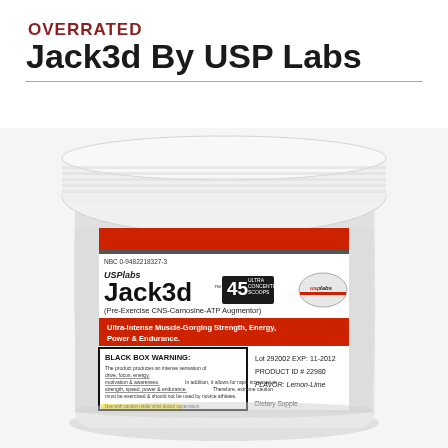OVERRATED
Jack3d By USP Labs
[Figure (photo): Photo of Jack3d supplement container by USP Labs — a white plastic tub with red/gray label reading Jack3d 45 Ultra Concentrated Scoops, Pre-Exercise CNS-Carnosine-ATP Augmentor, with Black Box Warning text, lot and product info (Lot 292002, EXP: 11-2012, PRODUCT ID #22980, FLAVOR: Lemon-Lime).]